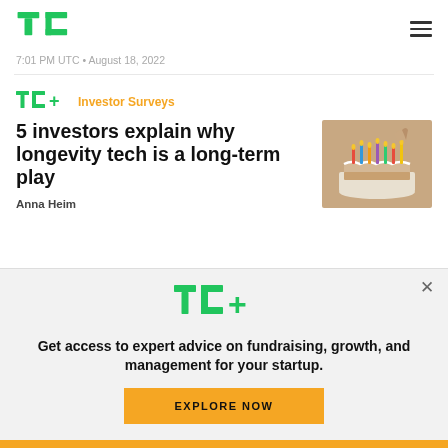TechCrunch logo and navigation
7:01 PM UTC • August 18, 2022
5 investors explain why longevity tech is a long-term play
Anna Heim
[Figure (photo): A person placing candles on a birthday cake]
Get access to expert advice on fundraising, growth, and management for your startup.
EXPLORE NOW